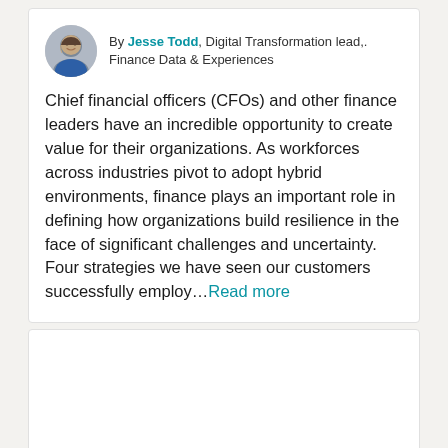By Jesse Todd, Digital Transformation lead,. Finance Data & Experiences
Chief financial officers (CFOs) and other finance leaders have an incredible opportunity to create value for their organizations. As workforces across industries pivot to adopt hybrid environments, finance plays an important role in defining how organizations build resilience in the face of significant challenges and uncertainty. Four strategies we have seen our customers successfully employ...Read more